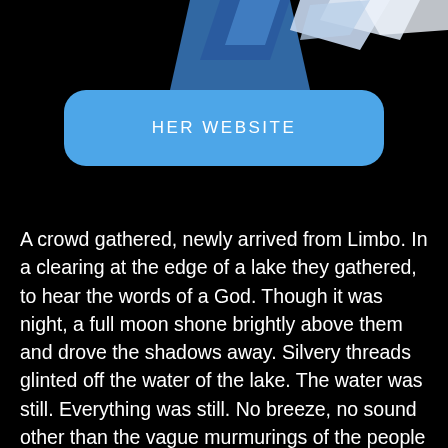[Figure (illustration): Partial illustration at top of page showing fantasy/game art with blue and white angular shapes against black background]
HER WEBSITE
A crowd gathered, newly arrived from Limbo. In a clearing at the edge of a lake they gathered, to hear the words of a God. Though it was night, a full moon shone brightly above them and drove the shadows away. Silvery threads glinted off the water of the lake. The water was still. Everything was still. No breeze, no sound other than the vague murmurings of the people gathered.
Priests standing before the crowd began to chant a prayer in unison: "Ariia the Foundation, shelter us from the maelstrom of Chaos. Be the bedrock of